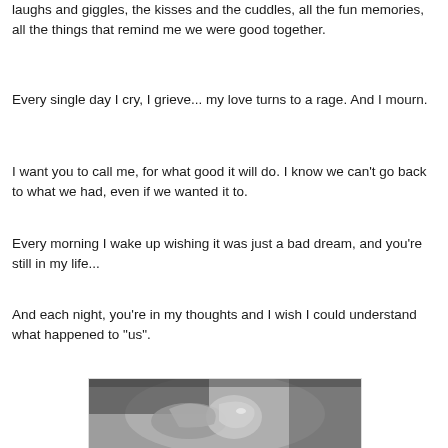laughs and giggles, the kisses and the cuddles, all the fun memories, all the things that remind me we were good together.
Every single day I cry, I grieve... my love turns to a rage. And I mourn.
I want you to call me, for what good it will do. I know we can't go back to what we had, even if we wanted it to.
Every morning I wake up wishing it was just a bad dream, and you're still in my life...
And each night, you're in my thoughts and I wish I could understand what happened to "us".
[Figure (photo): Black and white close-up photograph of two hands touching or holding, with a ring visible on one finger, against a blurred background.]